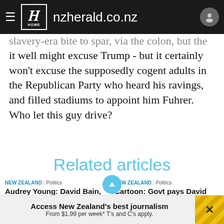nzherald.co.nz
slavery-era bite to spar, via the colon, but the mouth, it well might excuse Trump - but it certainly won't excuse the supposedly cogent adults in the Republican Party who heard his ravings, and filled stadiums to appoint him Fuhrer. Who let this guy drive?
Related articles
NEW ZEALAND | Politics
Audrey Young: David Bain, Teina Pora and the compensation argument
NEW ZEALAND | Politics
Cartoon: Govt pays David Bain $925,000
Aug 05:00 PM
Access New Zealand's best journalism
From $1.99 per week* T's and C's apply.